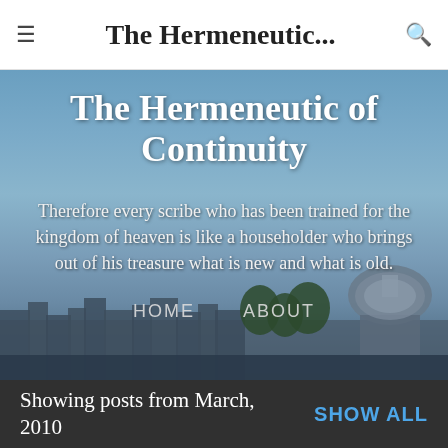The Hermeneutic...
The Hermeneutic of Continuity
Therefore every scribe who has been trained for the kingdom of heaven is like a householder who brings out of his treasure what is new and what is old.
[Figure (screenshot): Background photo of Rome cityscape with St. Peter's dome and sky, with navigation links HOME and ABOUT overlaid]
Showing posts from March, 2010
SHOW ALL